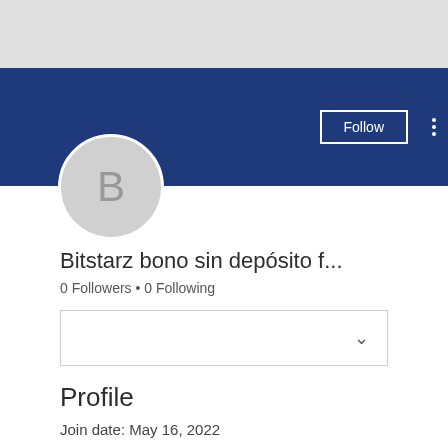[Figure (screenshot): Gray banner header area at top of profile page]
[Figure (screenshot): Dark blue profile banner with Follow button, three-dot menu, and avatar circle with letter B]
Bitstarz bono sin depósito f...
0 Followers • 0 Following
[Figure (screenshot): Dropdown selection box with chevron]
Profile
Join date: May 16, 2022